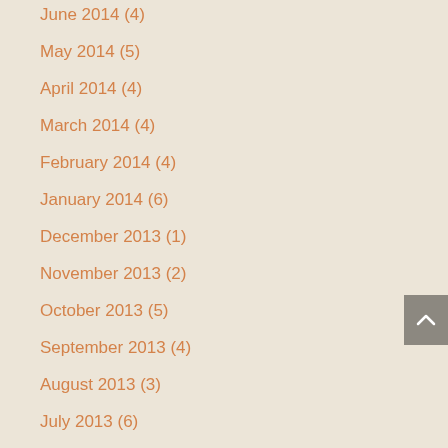June 2014 (4)
May 2014 (5)
April 2014 (4)
March 2014 (4)
February 2014 (4)
January 2014 (6)
December 2013 (1)
November 2013 (2)
October 2013 (5)
September 2013 (4)
August 2013 (3)
July 2013 (6)
June 2013 (4)